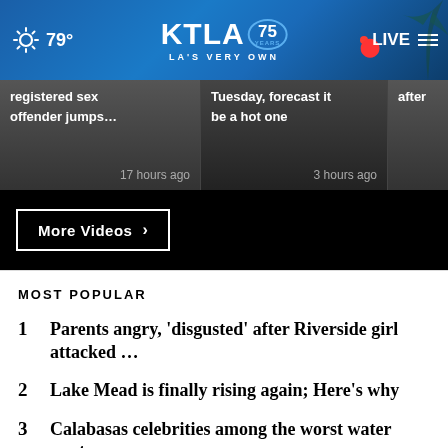[Figure (screenshot): KTLA 75 Years logo with weather (79°), LIVE button, and hamburger menu on blue gradient header]
[Figure (screenshot): News ticker strip showing three news cards: 'registered sex offender jumps... 17 hours ago', 'Tuesday, forecast it be a hot one 3 hours ago', and partial third card 'after']
[Figure (screenshot): More Videos button with right chevron on black background]
MOST POPULAR
1  Parents angry, 'disgusted' after Riverside girl attacked …
2  Lake Mead is finally rising again; Here's why
3  Calabasas celebrities among the worst water wasters; …